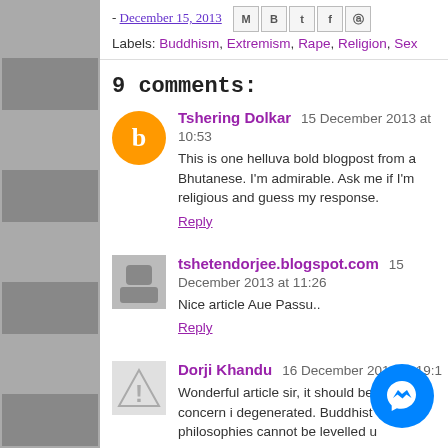- December 15, 2013
Labels: Buddhism, Extremism, Rape, Religion, Sex
9 comments:
Tshering Dolkar  15 December 2013 at 10:53
This is one helluva bold blogpost from a Bhutanese. I'm admirable. Ask me if I'm religious and guess my response.
Reply
tshetendorjee.blogspot.com  15 December 2013 at 11:26
Nice article Aue Passu..
Reply
Dorji Khandu  16 December 2013 at 19:1
Wonderful article sir, it should be a point of concern i degenerated. Buddhist philosophies cannot be levelled u